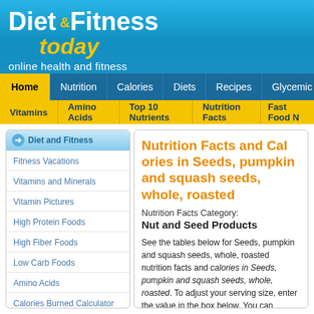Diet & Fitness today — online health and fitness
Home
Nutrition
Calories
Diets
Recipes
Glycemic
Vitamins
Amino Acids
Top 10 Nutrients
Nutrition Facts
Fast Food N
Diet and Fitness
Fitness Vacations
Vitamins and Minerals
Vitamin Pictures
High Protein Foods
High Fiber Foods
Low Carb Foods
Amino Acids
Calories Burned Calculator
Top 10 Nutrients
Nutrition Facts
Food sorted by nutrients
Nutrition Facts and Calories in Seeds, pumpkin and squash seeds, whole, roasted
Nutrition Facts Category:
Nut and Seed Products
See the tables below for Seeds, pumpkin and squash seeds, whole, roasted nutrition facts and calories in Seeds, pumpkin and squash seeds, whole, roasted. To adjust your serving size, enter the value in the box below. You can change the serving size for Seeds, pumpkin and squash seeds, whole, roasted.